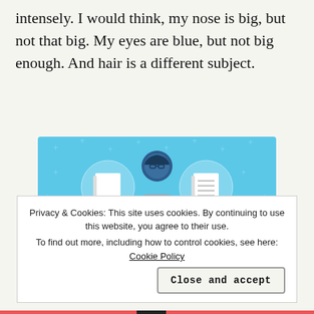intensely. I would think, my nose is big, but not that big. My eyes are blue, but not big enough. And hair is a different subject.
[Figure (illustration): Day One journaling app advertisement. Blue background with illustrated figure holding a phone, flanked by two notebook icons in circles. Text reads 'DAY ONE' and 'The only journaling app you'll ever need.']
Privacy & Cookies: This site uses cookies. By continuing to use this website, you agree to their use. To find out more, including how to control cookies, see here: Cookie Policy